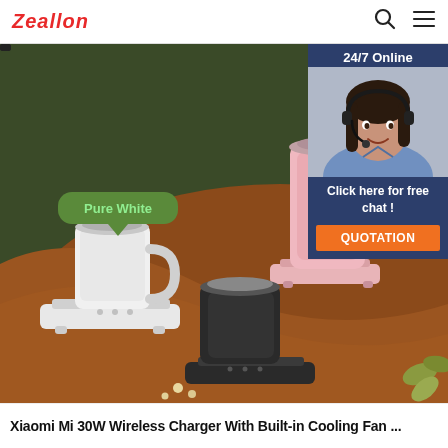Zeallon
[Figure (photo): Product photo showing Xiaomi wireless charger mugs in Pure White, pink, and dark colors on a dark green and brown draped fabric background. The white mug sits on a white charging pad. A pink mug is shown on a pink pad. A dark/black mug sits on a black pad in the foreground. Green speech bubbles label 'Pure White' and 'Dark' colors.]
[Figure (photo): Chat widget overlay with '24/7 Online' header, photo of a smiling woman with headset, and 'Click here for free chat!' text with an orange QUOTATION button.]
Xiaomi Mi 30W Wireless Charger With Built-in Cooling Fan ...